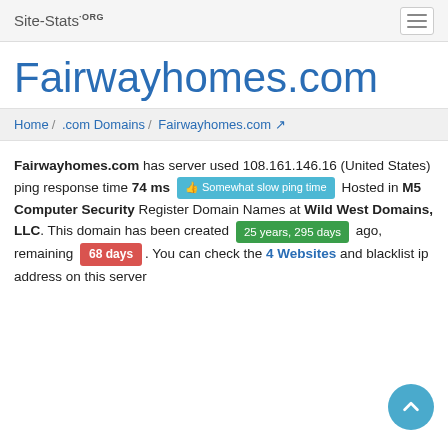Site-Stats.ORG
Fairwayhomes.com
Home / .com Domains / Fairwayhomes.com
Fairwayhomes.com has server used 108.161.146.16 (United States) ping response time 74 ms [Somewhat slow ping time] Hosted in M5 Computer Security Register Domain Names at Wild West Domains, LLC. This domain has been created [25 years, 295 days] ago, remaining [68 days]. You can check the 4 Websites and blacklist ip address on this server